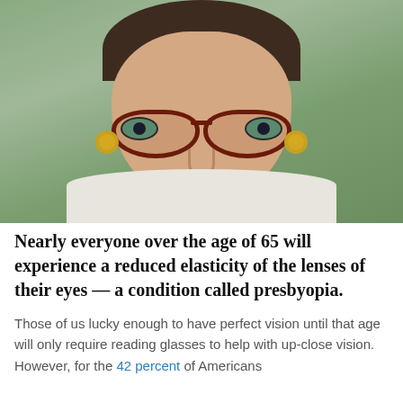[Figure (photo): Close-up portrait photo of an older woman with short dark hair, wearing dark red/brown thick-rimmed glasses and gold hoop earrings, with a slight expression, wearing a white/cream top, against a soft green background.]
Nearly everyone over the age of 65 will experience a reduced elasticity of the lenses of their eyes — a condition called presbyopia.
Those of us lucky enough to have perfect vision until that age will only require reading glasses to help with up-close vision. However, for the 42 percent of Americans